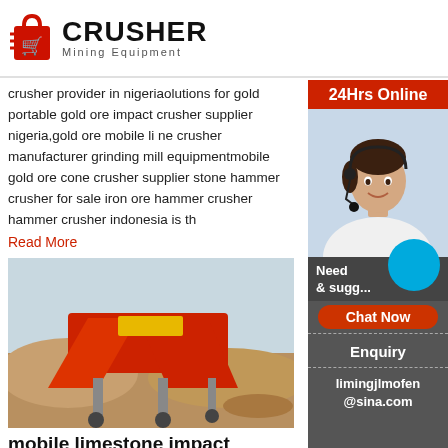CRUSHER Mining Equipment
crusher provider in nigeriaolutions for gold portable gold ore impact crusher supplier nigeria,gold ore mobile li ne crusher manufacturer grinding mill equipmentmobile gold ore cone crusher supplier stone hammer crusher for sale iron ore hammer crusher hammer crusher indonesia is th
Read More
[Figure (photo): Mining crushing equipment - a large red mobile impact crusher machine on a sandy ground]
mobile limestone impact crusher in angola
2021-9-12 · Jul 27, 2020· Mobile Crushing St... Portable limestone crusher for hire angola r373... limestone cone crusher for sale angola mobile li... ...results 1-30 of 85 ... to date...
[Figure (photo): 24Hrs Online sidebar with customer service representative photo, Chat Now button, Enquiry section, and limingjlmofen@sina.com email]